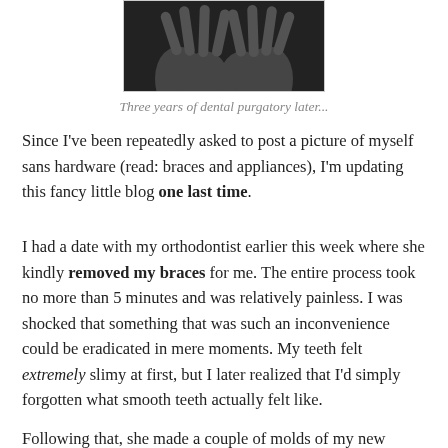[Figure (photo): A partial photo showing hands/fingers, cropped at top of page, dark background]
Three years of dental purgatory later...
Since I've been repeatedly asked to post a picture of myself sans hardware (read: braces and appliances), I'm updating this fancy little blog one last time.
I had a date with my orthodontist earlier this week where she kindly removed my braces for me. The entire process took no more than 5 minutes and was relatively painless. I was shocked that something that was such an inconvenience could be eradicated in mere moments. My teeth felt extremely slimy at first, but I later realized that I'd simply forgotten what smooth teeth actually felt like.
Following that, she made a couple of molds of my new